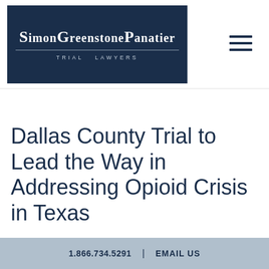Simon Greenstone Panatier Trial Lawyers
Dallas County Trial to Lead the Way in Addressing Opioid Crisis in Texas
1.866.734.5291 | EMAIL US